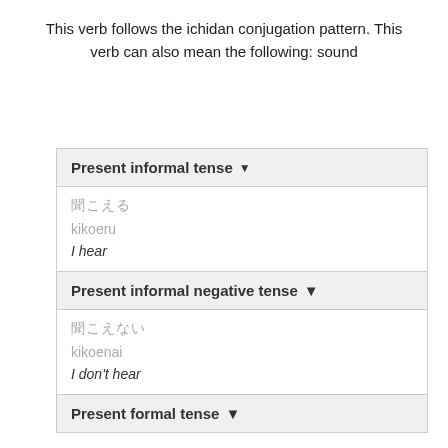This verb follows the ichidan conjugation pattern. This verb can also mean the following: sound
| Present informal tense ▾ |
| 聞こえる | kikoeru | I hear |
| Present informal negative tense ▾ |
| 聞こえない | kikoenai | I don't hear |
| Present formal tense ▾ |